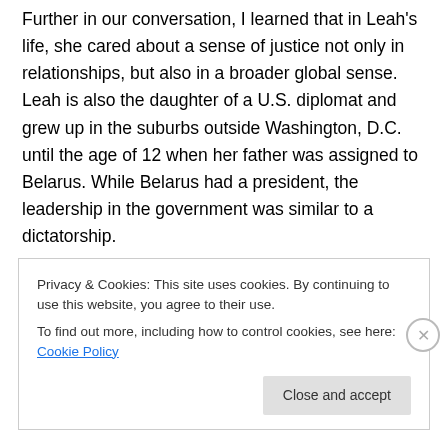Further in our conversation, I learned that in Leah's life, she cared about a sense of justice not only in relationships, but also in a broader global sense. Leah is also the daughter of a U.S. diplomat and grew up in the suburbs outside Washington, D.C. until the age of 12 when her father was assigned to Belarus. While Belarus had a president, the leadership in the government was similar to a dictatorship.
“I moved to Belarus, and lived there for a few years in a compound where all of the ambassadors stayed. Everybody lived next to the president. He became very
Privacy & Cookies: This site uses cookies. By continuing to use this website, you agree to their use.
To find out more, including how to control cookies, see here: Cookie Policy